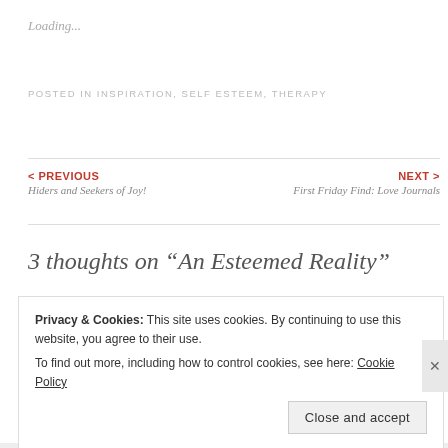Loading...
POSTED IN INSPIRATION, SELF ESTEEM, THERAPY
< PREVIOUS
Hiders and Seekers of Joy!
NEXT >
First Friday Find: Love Journals
3 thoughts on “An Esteemed Reality”
Privacy & Cookies: This site uses cookies. By continuing to use this website, you agree to their use.
To find out more, including how to control cookies, see here: Cookie Policy
Close and accept